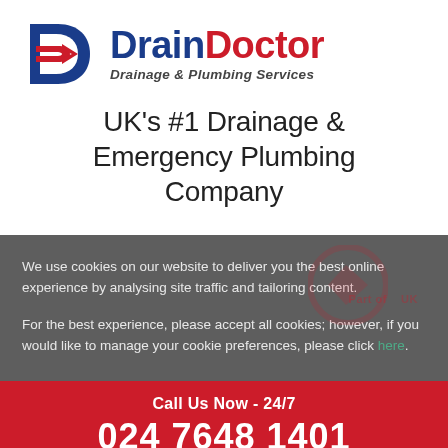[Figure (logo): Drain Doctor logo with blue D arrow icon and blue/red brand name text]
UK's #1 Drainage & Emergency Plumbing Company
We use cookies on our website to deliver you the best online experience by analysing site traffic and tailoring content.
For the best experience, please accept all cookies; however, if you would like to manage your cookie preferences, please click here.
Call Us Now - 24/7
024 7648 1401